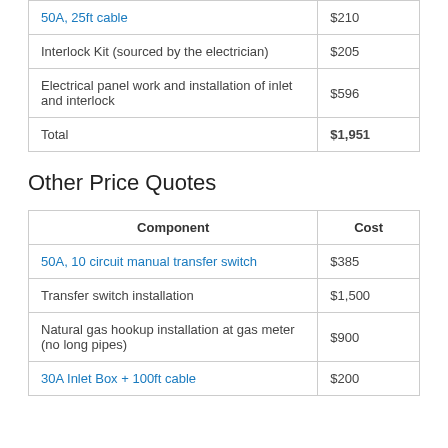| Component | Cost |
| --- | --- |
| 50A, 25ft cable | $210 |
| Interlock Kit (sourced by the electrician) | $205 |
| Electrical panel work and installation of inlet and interlock | $596 |
| Total | $1,951 |
Other Price Quotes
| Component | Cost |
| --- | --- |
| 50A, 10 circuit manual transfer switch | $385 |
| Transfer switch installation | $1,500 |
| Natural gas hookup installation at gas meter (no long pipes) | $900 |
| 30A Inlet Box + 100ft cable | $200 |